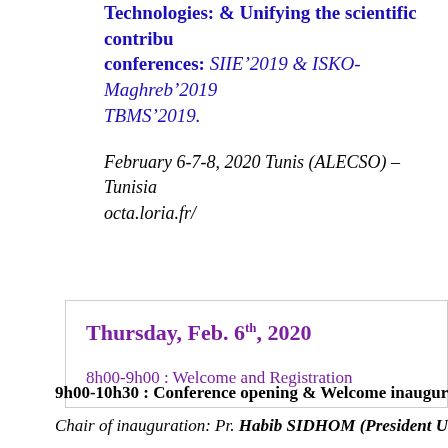Technologies: & Unifying the scientific contributions conferences: SIIE’2019 & ISKO-Maghreb’2019, TBMS’2019.
February 6-7-8, 2020 Tunis (ALECSO) – Tunisia octa.loria.fr/
Thursday, Feb. 6th, 2020
8h00-9h00 : Welcome and Registration
9h00-10h30 : Conference opening & Welcome inauguration
Chair of inauguration:   Pr. Habib SIDHOM (President Univer…